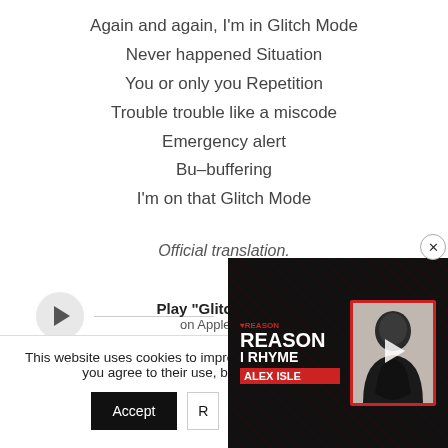Again and again, I'm in Glitch Mode
Never happened Situation
You or only you Repetition
Trouble trouble like a miscode
Emergency alert
Bu–buffering
I'm on that Glitch Mode
Official translation.
[Figure (other): Music player bar with play button, line, Play "Glitch Mode" on Apple Music text, and volume icon]
This website uses cookies to improve... "Accept" you agree to their use, b...
[Figure (other): Popup widget for 'The Reason I Rhyme' by Alex Isley with album art and play button on dark patterned background]